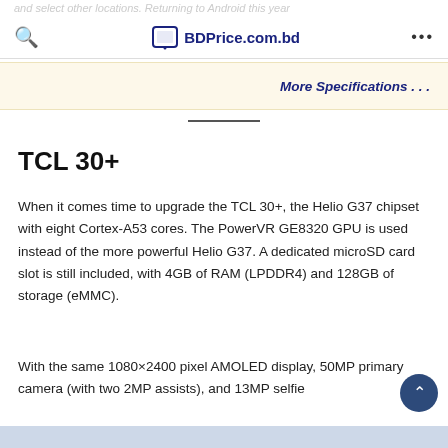and select other locations. Returning to Android this year
BDPrice.com.bd
More Specifications . . .
TCL 30+
When it comes time to upgrade the TCL 30+, the Helio G37 chipset with eight Cortex-A53 cores. The PowerVR GE8320 GPU is used instead of the more powerful Helio G37. A dedicated microSD card slot is still included, with 4GB of RAM (LPDDR4) and 128GB of storage (eMMC).
With the same 1080×2400 pixel AMOLED display, 50MP primary camera (with two 2MP assists), and 13MP selfie